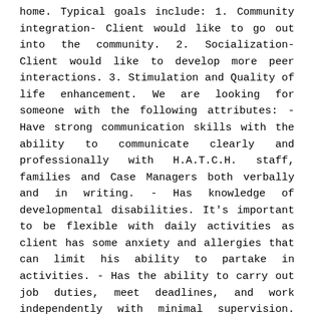home. Typical goals include: 1. Community integration- Client would like to go out into the community. 2. Socialization- Client would like to develop more peer interactions. 3. Stimulation and Quality of life enhancement. We are looking for someone with the following attributes: - Have strong communication skills with the ability to communicate clearly and professionally with H.A.T.C.H. staff, families and Case Managers both verbally and in writing. - Has knowledge of developmental disabilities. It's important to be flexible with daily activities as client has some anxiety and allergies that can limit his ability to partake in activities. - Has the ability to carry out job duties, meet deadlines, and work independently with minimal supervision. Possess the skills to exercise cultural competency and sensitivity, maturity and good judgment. - Has the ability to effectively work collaboratively as part of the team in the office as well as the ability to work with a variety of potentially challenging behaviors. - Excellent time management skills with a strong sense of responsibility. Required: - Must be over 18. - A strong background and work experience working with adults out in the community. - Ability to conduct and lead social activities with adults. Preferred: - Resourceful and creative in finding